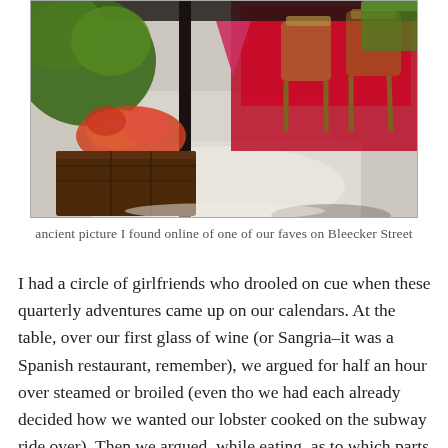[Figure (photo): Photo of the outdoor entrance and patio seating area of a Spanish restaurant on Bleecker Street. A wooden planter box with colorful flowers is in the foreground left. Red tablecloths cover tables with wicker/rattan chairs on the right. A pink triangular sign or awning element is visible at top-center. The setting appears to be a city sidewalk.]
ancient picture I found online of one of our faves on Bleecker Street
I had a circle of girlfriends who drooled on cue when these quarterly adventures came up on our calendars. At the table, over our first glass of wine (or Sangria–it was a Spanish restaurant, remember), we argued for half an hour over steamed or broiled (even tho we had each already decided how we wanted our lobster cooked on the subway ride over). Then we argued, while eating, as to which parts of the lobster should be eaten first. I go for sucking on the legs, then the cracking the claws, then eating any other shreds of meat in the body along